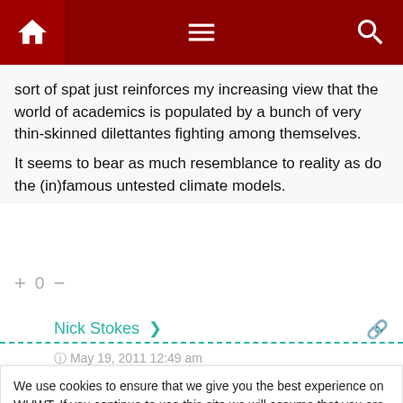[Figure (screenshot): Dark red navigation bar with home icon, hamburger menu icon, and search icon]
sort of spat just reinforces my increasing view that the world of academics is populated by a bunch of very thin-skinned dilettantes fighting among themselves.
It seems to bear as much resemblance to reality as do the (in)famous untested climate models.
+ 0 −
Nick Stokes
May 19, 2011 12:49 am
We use cookies to ensure that we give you the best experience on WUWT. If you continue to use this site we will assume that you are happy with it. This notice is required by recently enacted EU GDPR rules, and since WUWT is a globally read website, we need to keep the bureaucrats off our case! Cookie Policy
Close and accept
is the foreign exchange student that they are talking about?